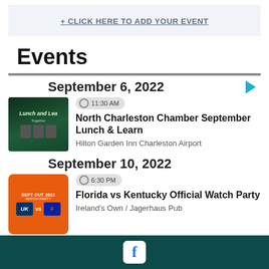+ CLICK HERE TO ADD YOUR EVENT
Events
September 6, 2022
[Figure (photo): Lunch and Learn event promotional image with three speakers in formal attire on a dark green background]
11:30 AM
North Charleston Chamber September Lunch & Learn
Hilton Garden Inn Charleston Airport
September 10, 2022
[Figure (photo): Football watch party promotional image with Florida Gators vs Kentucky Wildcats on orange background]
6:30 PM
Florida vs Kentucky Official Watch Party
Ireland's Own / Jagerhaus Pub
[Figure (logo): Facebook logo icon in white on dark teal footer bar]